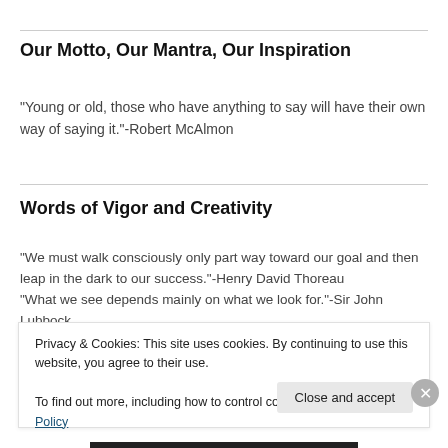Our Motto, Our Mantra, Our Inspiration
"Young or old, those who have anything to say will have their own way of saying it."-Robert McAlmon
Words of Vigor and Creativity
"We must walk consciously only part way toward our goal and then leap in the dark to our success."-Henry David Thoreau
"What we see depends mainly on what we look for."-Sir John Lubbock
"This thing that we call 'failure' is not the falling down, but the staying
Privacy & Cookies: This site uses cookies. By continuing to use this website, you agree to their use.
To find out more, including how to control cookies, see here: Cookie Policy

Close and accept